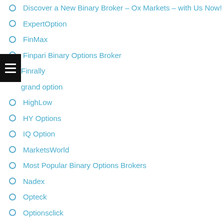Discover a New Binary Broker – Ox Markets – with Us Now!
ExpertOption
FinMax
Finpari Binary Options Broker
Finrally
grand option
HighLow
HY Options
IQ Option
MarketsWorld
Most Popular Binary Options Brokers
Nadex
Opteck
Optionsclick
OptionTime
OptionTrade
Paypal
PlusOption